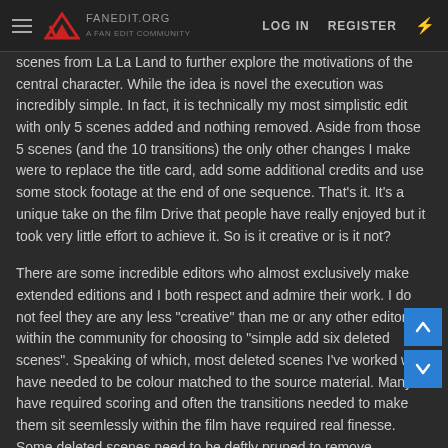FANEDIT.ORG — LOG IN   REGISTER
scenes from La La Land to further explore the motivations of the central character. While the idea is novel the execution was incredibly simple. In fact, it is technically my most simplistic edit with only 5 scenes added and nothing removed. Aside from those 5 scenes (and the 10 transitions) the only other changes I make were to replace the title card, add some additional credits and use some stock footage at the end of one sequence. That's it. It's a unique take on the film Drive that people have really enjoyed but it took very little effort to achieve it. So is it creative or is it not?
There are some incredible editors who almost exclusively make extended editions and I both respect and admire their work. I do not feel they are any less "creative" than me or any other editor within the community for choosing to "simple add six deleted scenes". Speaking of which, most deleted scenes I've worked with have needed to be colour matched to the source material. Many have required scoring and often the transitions needed to make them sit seemlessly within the film have required real finesse. Some deleted scenes need to be deftly pruned to remove incomplete effects. An extended edit might not be the most original concept but it is in no way lacking creativity and to claim otherwise is unfair. Personally I think assessing "creative effort" has a strong whiff of gatekeeping to me.